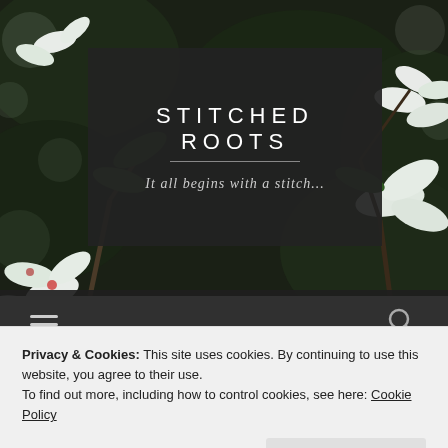[Figure (photo): Blurred background photo of white flowering blossoms and dark green leaves (dogwood or similar), serving as the website header background image]
STITCHED ROOTS
It all begins with a stitch...
[Figure (other): Dark navigation bar with hamburger menu icon on the left and search icon on the right]
Privacy & Cookies: This site uses cookies. By continuing to use this website, you agree to their use.
To find out more, including how to control cookies, see here: Cookie Policy
Close and accept